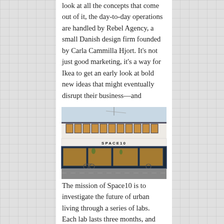look at all the concepts that come out of it, the day-to-day operations are handled by Rebel Agency, a small Danish design firm founded by Carla Cammilla Hjort. It’s not just good marketing, it’s a way for Ikea to get an early look at bold new ideas that might eventually disrupt their business—and possibly bring them to market first.
[Figure (photo): Exterior photograph of Space10, a building with large illuminated windows on the upper floor and a warm-lit storefront on the ground floor, with the text SPACE10 on the facade. Street scene with bicycles visible.]
The mission of Space10 is to investigate the future of urban living through a series of labs. Each lab lasts three months, and has a certain theme—the first is Fresh Living, a collection of